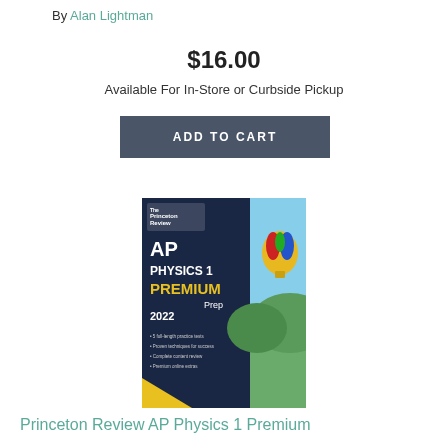By Alan Lightman
$16.00
Available For In-Store or Curbside Pickup
ADD TO CART
[Figure (photo): Book cover of Princeton Review AP Physics 1 Premium Prep 2022, featuring a hot air balloon against a landscape background with dark blue and yellow design elements.]
Princeton Review AP Physics 1 Premium